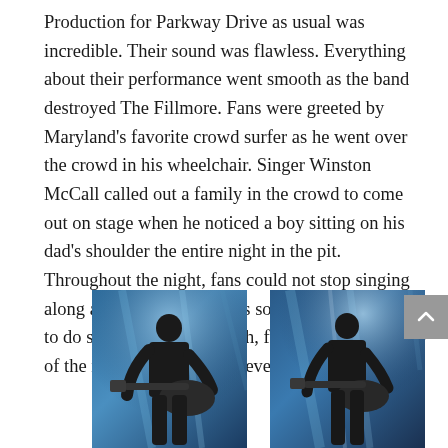Production for Parkway Drive as usual was incredible. Their sound was flawless. Everything about their performance went smooth as the band destroyed The Fillmore. Fans were greeted by Maryland's favorite crowd surfer as he went over the crowd in his wheelchair. Singer Winston McCall called out a family in the crowd to come out on stage when he noticed a boy sitting on his dad's shoulder the entire night in the pit. Throughout the night, fans could not stop singing along as Parkway Drive has some of the best songs to do so. From start to finish, fans got the best show of the night that they will never forget.
[Figure (photo): Concert photo of a guitarist in a black t-shirt playing guitar on stage with blue stage lighting]
[Figure (photo): Concert photo of a guitarist in a black t-shirt playing guitar on stage with blue/white stage lighting]